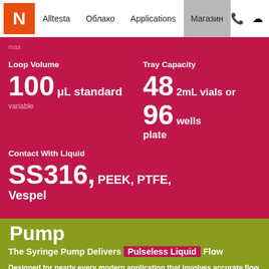N | Alltesta | Облако | Applications | Магазин
max
Loop Volume
100 μL standard
variable
Tray Capacity
48 2mL vials or 96 wells plate
Contact With Liquid
SS316, PEEK, PTFE, Vespel
Pump
The Syringe Pump Delivers Pulseless Liquid Flow
Designed for nearly every modern application that involves accurate flow metering. Suitable for diverse chemical and biomedical research areas where precise solvent dosing is required